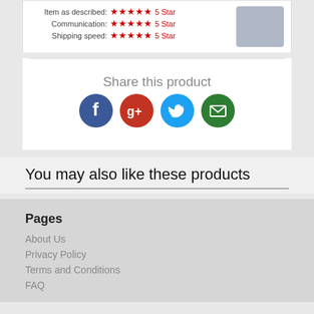[Figure (screenshot): Product review rating section showing Item as described: 5 Star, Communication: 5 Star, Shipping speed: 5 Star with red stars, and a laptop image on the right]
Share this product
[Figure (infographic): Four social media sharing icons: Facebook (blue), Google+ (red), Twitter (cyan), Email (green)]
You may also like these products
Pages
About Us
Privacy Policy
Terms and Conditions
FAQ